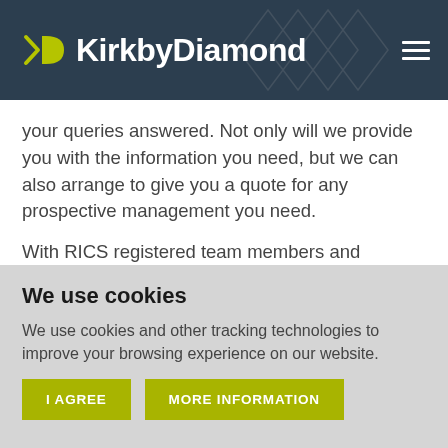KirkbyDiamond
your queries answered. Not only will we provide you with the information you need, but we can also arrange to give you a quote for any prospective management you need.
With RICS registered team members and property and tenant management experts on hand, you
We use cookies
We use cookies and other tracking technologies to improve your browsing experience on our website.
I AGREE   MORE INFORMATION